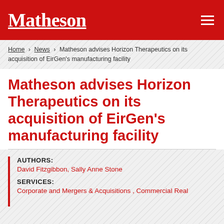Matheson
Home > News > Matheson advises Horizon Therapeutics on its acquisition of EirGen's manufacturing facility
Matheson advises Horizon Therapeutics on its acquisition of EirGen's manufacturing facility
AUTHORS: David Fitzgibbon, Sally Anne Stone
SERVICES: Corporate and Mergers & Acquisitions , Commercial Real